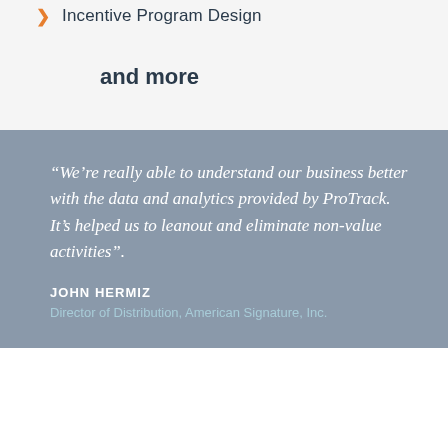Incentive Program Design
and more
“We’re really able to understand our business better with the data and analytics provided by ProTrack. It’s helped us to leanout and eliminate non-value activities”.
JOHN HERMIZ
Director of Distribution, American Signature, Inc.